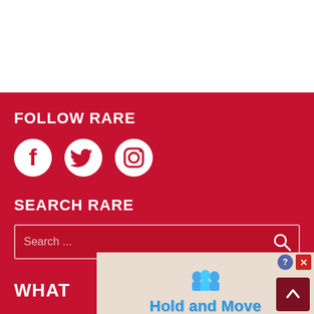FOLLOW RARE
[Figure (infographic): Social media icons: Facebook, Twitter, Instagram in white on red background]
SEARCH RARE
Search ...
WHAT
[Figure (screenshot): Advertisement banner showing Hold and Move game with blue cartoon figures, help and close buttons]